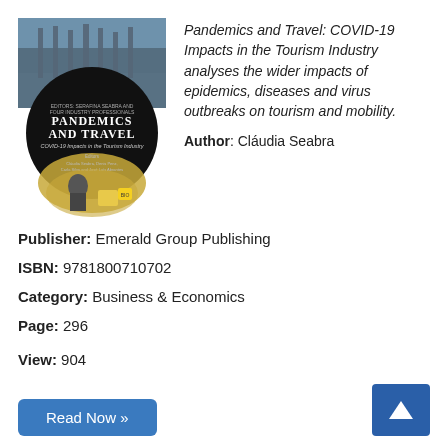[Figure (illustration): Book cover of 'Pandemics and Travel: COVID-19 Impacts in the Tourism Industry' showing a dark circular design with a masked person, airport scenes, and editors' names.]
Pandemics and Travel: COVID-19 Impacts in the Tourism Industry analyses the wider impacts of epidemics, diseases and virus outbreaks on tourism and mobility.
Author: Cláudia Seabra
Publisher: Emerald Group Publishing
ISBN: 9781800710702
Category: Business & Economics
Page: 296
View: 904